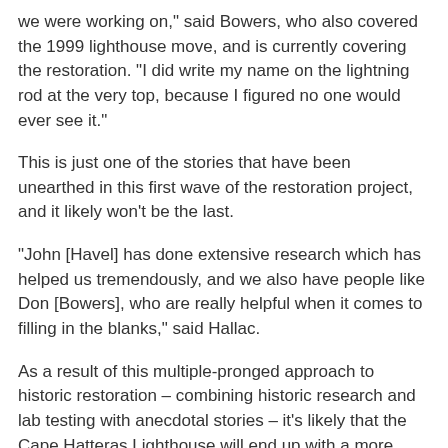we were working on," said Bowers, who also covered the 1999 lighthouse move, and is currently covering the restoration. "I did write my name on the lightning rod at the very top, because I figured no one would ever see it."
This is just one of the stories that have been unearthed in this first wave of the restoration project, and it likely won't be the last.
"John [Havel] has done extensive research which has helped us tremendously, and we also have people like Don [Bowers], who are really helpful when it comes to filling in the blanks," said Hallac.
As a result of this multiple-pronged approach to historic restoration – combining historic research and lab testing with anecdotal stories – it's likely that the Cape Hatteras Lighthouse will end up with a more complete history than it has ever had before.
However, there is still lots of work left to do, and stripping the lighthouse down to its bare-bones interior is just the first step.